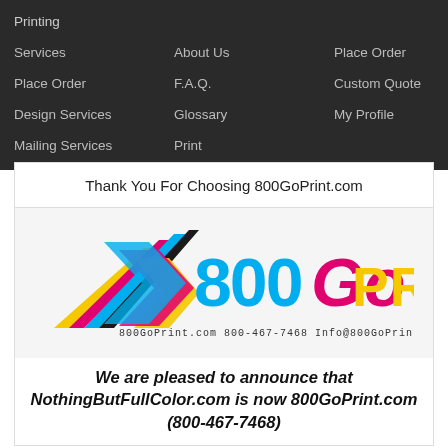Printing Services | About Us | Place Order | Place Order | F.A.Q. | Custom Quote | Design Services | Glossary | My Profile | Mailing Services | Print
Thank You For Choosing 800GoPrint.com
[Figure (logo): 800GoPrint logo with colorful CMYK fan/arrow graphic and text '800GoPrint.com 800-467-7468 Info@800GoPrint.com']
We are pleased to announce that NothingButFullColor.com is now 800GoPrint.com (800-467-7468)